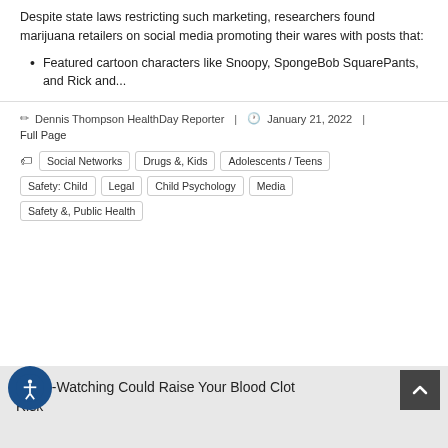Despite state laws restricting such marketing, researchers found marijuana retailers on social media promoting their wares with posts that:
Featured cartoon characters like Snoopy, SpongeBob SquarePants, and Rick and...
Dennis Thompson HealthDay Reporter | January 21, 2022 | Full Page
Social Networks | Drugs &, Kids | Adolescents / Teens | Safety: Child | Legal | Child Psychology | Media | Safety &, Public Health
Binge-Watching Could Raise Your Blood Clot Risk